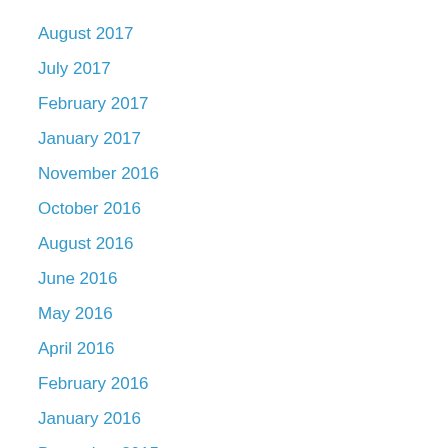August 2017
July 2017
February 2017
January 2017
November 2016
October 2016
August 2016
June 2016
May 2016
April 2016
February 2016
January 2016
December 2015
November 2015
October 2015
September 2015
August 2015
June 2015
May 2015
April 2015